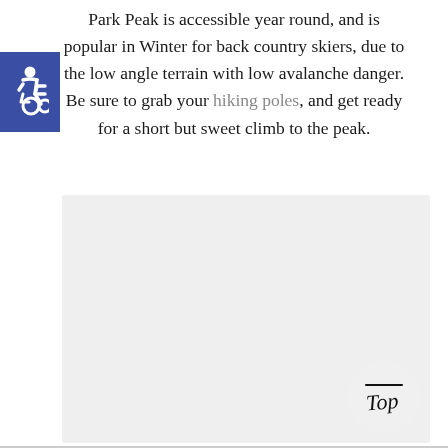Park Peak is accessible year round, and is popular in Winter for back country skiers, due to the low angle terrain with low avalanche danger. Be sure to grab your hiking poles, and get ready for a short but sweet climb to the peak.
[Figure (photo): A large light gray placeholder image rectangle, likely a photo of Park Peak or surrounding landscape. In the bottom-right corner is a circular 'Top' navigation button with handwritten-style text.]